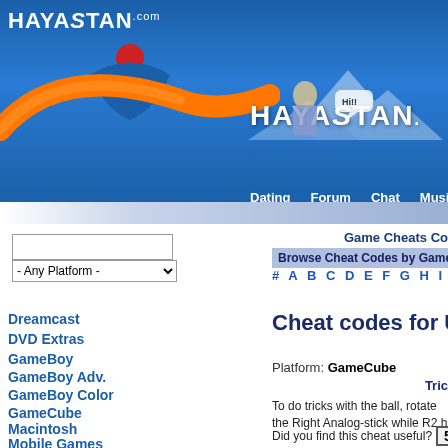[Figure (screenshot): Hayastan.com website header banner with logo, orange swoosh, dating/forum/chat/music/advertising/wallpaper navigation, and mountain background]
Game Cheats Co
Browse Cheat Codes by Game Title
# A B C D E F G H I J K L M
Cheat codes for U
Dreamcast
DVD Extras
GameBoy
GameBoy Adv.
GameBoy Color
GameCube
Macintosh
Mobile Games
NES
Nintendo 64
Platform: GameCube
Tric
To do tricks with the ball, rotate the Right Analog-stick while R2 h
Did you find this cheat useful? 5